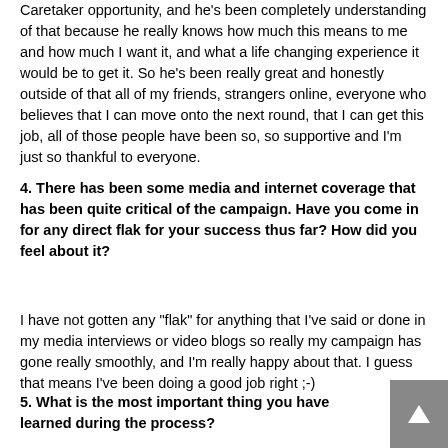Caretaker opportunity, and he's been completely understanding of that because he really knows how much this means to me and how much I want it, and what a life changing experience it would be to get it. So he's been really great and honestly outside of that all of my friends, strangers online, everyone who believes that I can move onto the next round, that I can get this job, all of those people have been so, so supportive and I'm just so thankful to everyone.
4. There has been some media and internet coverage that has been quite critical of the campaign. Have you come in for any direct flak for your success thus far? How did you feel about it?
I have not gotten any "flak" for anything that I've said or done in my media interviews or video blogs so really my campaign has gone really smoothly, and I'm really happy about that. I guess that means I've been doing a good job right ;-)
5. What is the most important thing you have learned during the process?
The most important thing I've learned throughout this entire process is that it's so important to be yourself. I know that sounds so cliched but it's really true, like going on TV and everything I